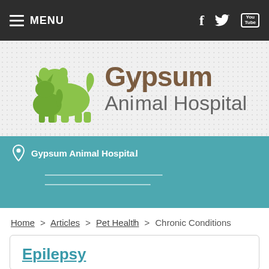MENU
[Figure (logo): Gypsum Animal Hospital logo with green dog and cat silhouette and brown/gray text]
Gypsum Animal Hospital
Home > Articles > Pet Health > Chronic Conditions
Epilepsy